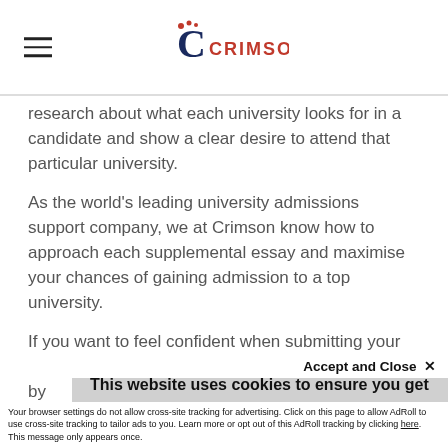Crimson Education logo and navigation
research about what each university looks for in a candidate and show a clear desire to attend that particular university.
As the world's leading university admissions support company, we at Crimson know how to approach each supplemental essay and maximise your chances of gaining admission to a top university.
If you want to feel confident when submitting your college application essay, get your essay reviewed by [text partially hidden by cookie banner]
This website uses cookies to ensure you get the best experience on our website. Learn more
Accept and Close ×
Your browser settings do not allow cross-site tracking for advertising. Click on this page to allow AdRoll to use cross-site tracking to tailor ads to you. Learn more or opt out of this AdRoll tracking by clicking here. This message only appears once.